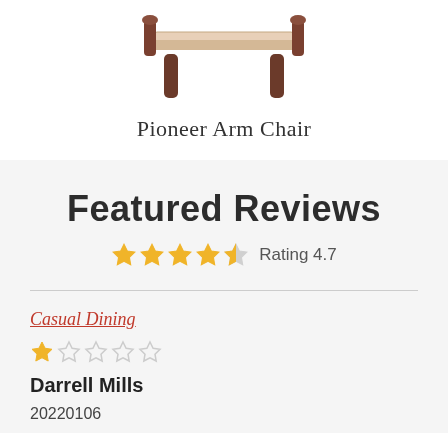[Figure (photo): Partial view of a wooden arm chair (Pioneer Arm Chair) showing the seat and legs from above, cropped at top]
Pioneer Arm Chair
Featured Reviews
Rating 4.7
Casual Dining
1 star out of 5
Darrell Mills
20220106